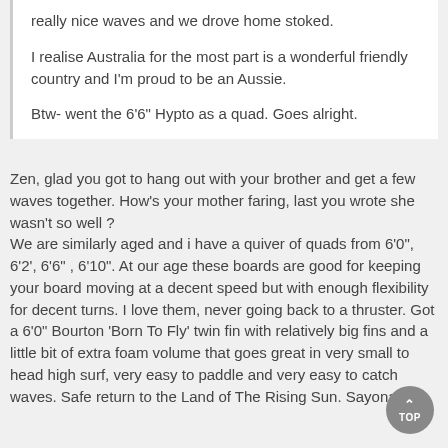really nice waves and we drove home stoked.

I realise Australia for the most part is a wonderful friendly country and I'm proud to be an Aussie.

Btw- went the 6'6" Hypto as a quad. Goes alright.
Zen, glad you got to hang out with your brother and get a few waves together. How's your mother faring, last you wrote she wasn't so well ?
We are similarly aged and i have a quiver of quads from 6'0", 6'2', 6'6" , 6'10". At our age these boards are good for keeping your board moving at a decent speed but with enough flexibility for decent turns. I love them, never going back to a thruster. Got a 6'0" Bourton 'Born To Fly' twin fin with relatively big fins and a little bit of extra foam volume that goes great in very small to head high surf, very easy to paddle and very easy to catch waves. Safe return to the Land of The Rising Sun. Sayonara.